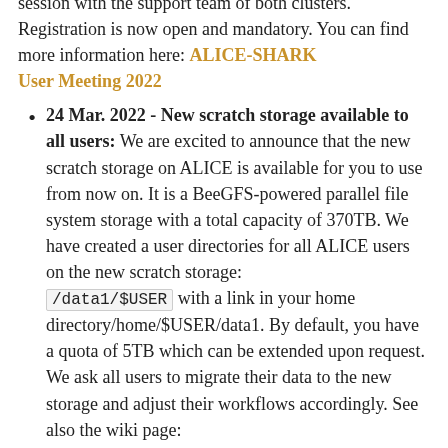session with the support team of both clusters. Registration is now open and mandatory. You can find more information here: ALICE-SHARK User Meeting 2022
24 Mar. 2022 - New scratch storage available to all users: We are excited to announce that the new scratch storage on ALICE is available for you to use from now on. It is a BeeGFS-powered parallel file system storage with a total capacity of 370TB. We have created a user directories for all ALICE users on the new scratch storage: /data1/$USER with a link in your home directory/home/$USER/data1. By default, you have a quota of 5TB which can be extended upon request. We ask all users to migrate their data to the new storage and adjust their workflows accordingly. See also the wiki page: